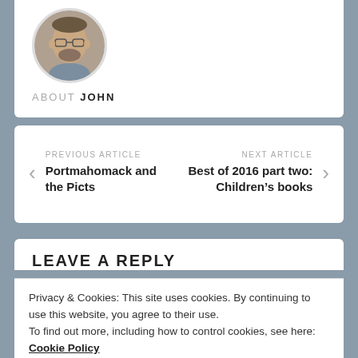[Figure (photo): Circular avatar photo of a man with glasses and a beard, in front of bookshelves]
ABOUT JOHN
PREVIOUS ARTICLE
Portmahomack and the Picts
NEXT ARTICLE
Best of 2016 part two: Children's books
LEAVE A REPLY
Privacy & Cookies: This site uses cookies. By continuing to use this website, you agree to their use.
To find out more, including how to control cookies, see here: Cookie Policy
Close and accept